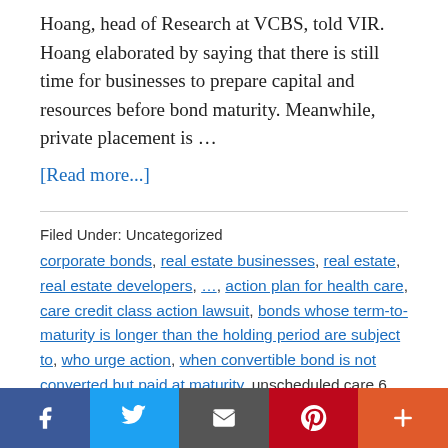Hoang, head of Research at VCBS, told VIR. Hoang elaborated by saying that there is still time for businesses to prepare capital and resources before bond maturity. Meanwhile, private placement is …
[Read more...]
Filed Under: Uncategorized
corporate bonds, real estate businesses, real estate, real estate developers, …, action plan for health care, care credit class action lawsuit, bonds whose term-to-maturity is longer than the holding period are subject to, who urge action, when convertible bond is not converted but paid at maturity, unscheduled care 6